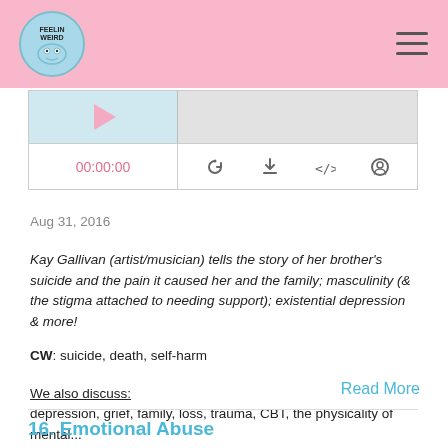Feelin Weird podcast logo and navigation
[Figure (screenshot): Podcast player with thumbnail, play button, timestamp 00:00:00 and control icons (RSS, download, embed, share)]
Aug 31, 2016
Kay Gallivan (artist/musician) tells the story of her brother's suicide and the pain it caused her and the family; masculinity (& the stigma attached to needing support); existential depression & more!
CW: suicide, death, self-harm
We also discuss:
depression, grief, family, loss, trauma, CBT, the physicality of mental...
Read More
16. Emotional Abuse